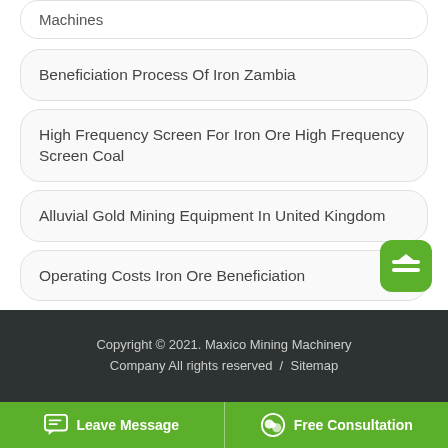Machines
Beneficiation Process Of Iron Zambia
High Frequency Screen For Iron Ore High Frequency Screen Coal
Alluvial Gold Mining Equipment In United Kingdom
Operating Costs Iron Ore Beneficiation
Copyright © 2021. Maxico Mining Machinery Company All rights reserved  /  Sitemap
Leave Message   Free Consultation